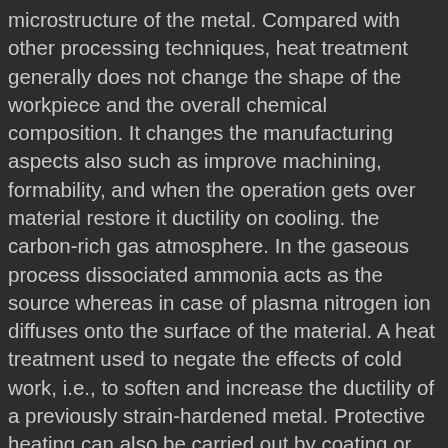microstructure of the metal. Compared with other processing techniques, heat treatment generally does not change the shape of the workpiece and the overall chemical composition. It changes the manufacturing aspects also such as improve machining, formability, and when the operation gets over material restore it ductility on cooling. the carbon-rich gas atmosphere. In the gaseous process dissociated ammonia acts as the source whereas in case of plasma nitrogen ion diffuses onto the surface of the material. A heat treatment used to negate the effects of cold work, i.e., to soften and increase the ductility of a previously strain-hardened metal. Protective heating can also be carried out by coating or packaging Different methods of carburization Heat treatment is a process of heating and then cooling metals using predefined methods to achieve desired mechanical properties like hardness, ductility, toughness, strength, etc. High surface hardness and wear resistance. vacuum. properties of the parts after the heat treatment. In the plasma nitriding penetrations of